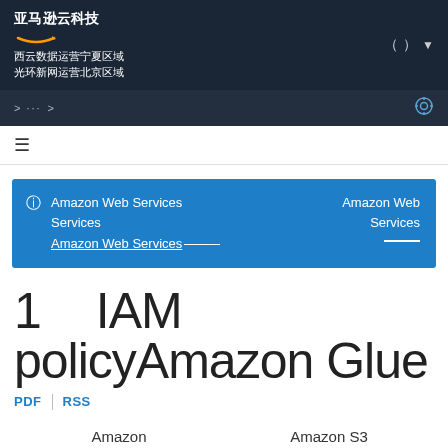亚马逊云科技 西云数据运营宁夏区域 光环新网运营北京区域
Amazon Web Services Amazon Web Services Amazon Web Services
1 IAM policyAmazon Glue
PDF | RSS
Amazon    Amazon S3